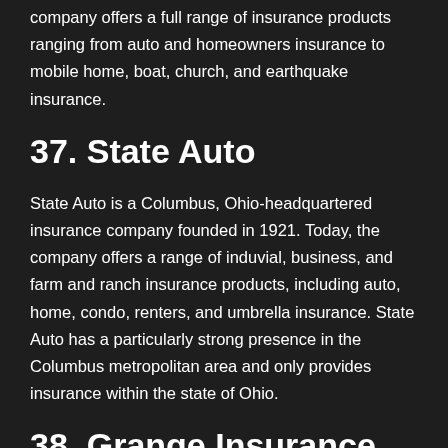company offers a full range of insurance products ranging from auto and homeowners insurance to mobile home, boat, church, and earthquake insurance.
37. State Auto
State Auto is a Columbus, Ohio-headquartered insurance company founded in 1921. Today, the company offers a range of induvial, business, and farm and ranch insurance products, including auto, home, condo, renters, and umbrella insurance. State Auto has a particularly strong presence in the Columbus metropolitan area and only provides insurance within the state of Ohio.
38. Grange Insurance
Grange Mutual Casualty Company, also known as Grange Insurance, is a Columbus, Ohio-headquartered insurance